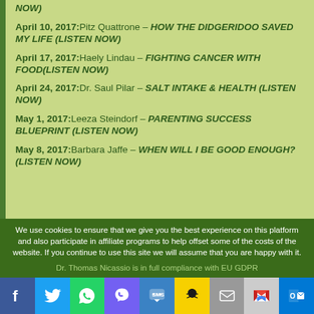NOW)
April 10, 2017: Pitz Quattrone – HOW THE DIDGERIDOO SAVED MY LIFE (LISTEN NOW)
April 17, 2017: Haely Lindau – FIGHTING CANCER WITH FOOD(LISTEN NOW)
April 24, 2017: Dr. Saul Pilar – SALT INTAKE & HEALTH (LISTEN NOW)
May 1, 2017: Leeza Steindorf – PARENTING SUCCESS BLUEPRINT (LISTEN NOW)
May 8, 2017: Barbara Jaffe – WHEN WILL I BE GOOD ENOUGH? (LISTEN NOW)
We use cookies to ensure that we give you the best experience on this platform and also participate in affiliate programs to help offset some of the costs of the website. If you continue to use this site we will assume that you are happy with it. Dr. Thomas Nicassio is in full compliance with EU GDPR.
[Figure (infographic): Social sharing buttons row: Facebook, Twitter, WhatsApp, Viber, SMS, Snapchat, Email, Gmail, Outlook]